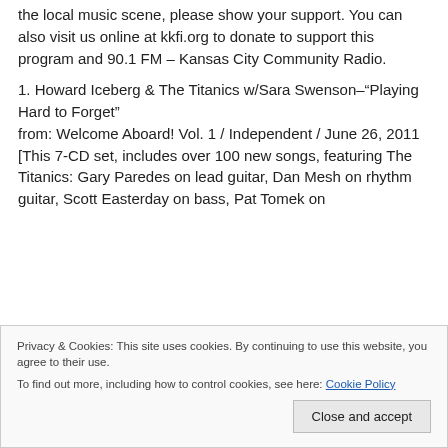the local music scene, please show your support. You can also visit us online at kkfi.org to donate to support this program and 90.1 FM – Kansas City Community Radio.
1. Howard Iceberg & The Titanics w/Sara Swenson–"Playing Hard to Forget"
from: Welcome Aboard! Vol. 1 / Independent / June 26, 2011
[This 7-CD set, includes over 100 new songs, featuring The Titanics: Gary Paredes on lead guitar, Dan Mesh on rhythm guitar, Scott Easterday on bass, Pat Tomek on
Privacy & Cookies: This site uses cookies. By continuing to use this website, you agree to their use.
To find out more, including how to control cookies, see here: Cookie Policy